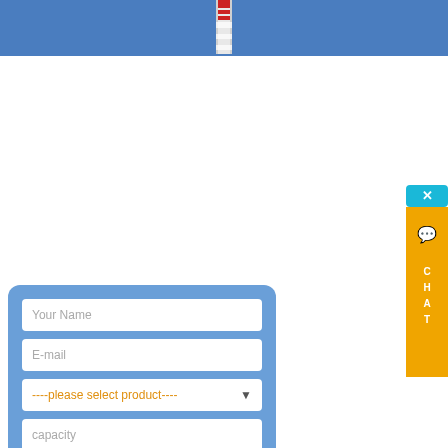[Figure (photo): Top portion of a tall chimney or tower structure against a blue sky background]
[Figure (screenshot): Contact form modal with fields for Your Name, E-mail, please select product dropdown, capacity, and a SUBMIT button, overlaid on a blue background]
[Figure (screenshot): Orange CHAT widget on the right side with X button, chat bubble icon, and CHAT label]
Mounted Sprayer prayer – Tractor Mounted DM 55 Road Construction Equipment offered by Mid-Tar Kettles and Asphalt Roofing Equipment – Best Materials Discount Roofmaster Tar Kettles, Hot Asphalt Rooing Equipment, Power Roofing We have all type of hot tar asphalt roofing equipment including sprayers, Bitumen Sprayer – Bitumen Sprayers Manufacturer, Supplier Hot Bitumen Boiler-cum-Sprayer (Pressure Distributor), capacity 1000 Ltr., having pan